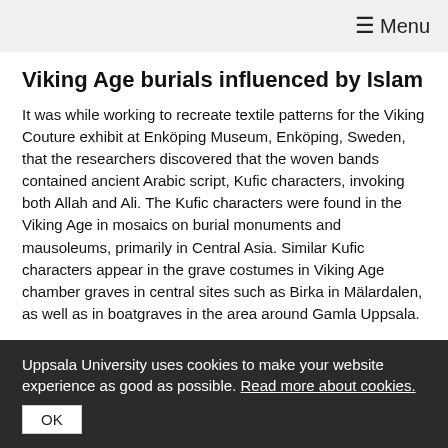≡ Menu
Viking Age burials influenced by Islam
It was while working to recreate textile patterns for the Viking Couture exhibit at Enköping Museum, Enköping, Sweden, that the researchers discovered that the woven bands contained ancient Arabic script, Kufic characters, invoking both Allah and Ali. The Kufic characters were found in the Viking Age in mosaics on burial monuments and mausoleums, primarily in Central Asia. Similar Kufic characters appear in the grave costumes in Viking Age chamber graves in central sites such as Birka in Mälardalen, as well as in boatgraves in the area around Gamla Uppsala.
Uppsala University uses cookies to make your website experience as good as possible. Read more about cookies.